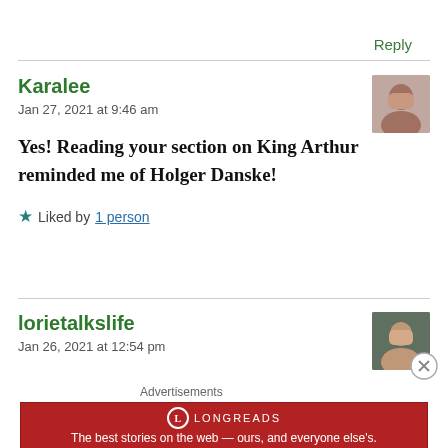Reply
Karalee
Jan 27, 2021 at 9:46 am
[Figure (photo): Avatar photo of Karalee commenter]
Yes! Reading your section on King Arthur reminded me of Holger Danske!
Liked by 1 person
lorietalkslife
Jan 26, 2021 at 12:54 pm
[Figure (photo): Avatar photo of lorietalkslife commenter]
Advertisements
[Figure (logo): Longreads advertisement banner — The best stories on the web — ours, and everyone else's.]